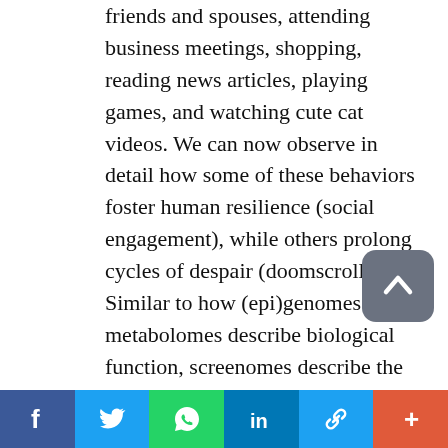friends and spouses, attending business meetings, shopping, reading news articles, playing games, and watching cute cat videos. We can now observe in detail how some of these behaviors foster human resilience (social engagement), while others prolong cycles of despair (doomscrolling). Similar to how (epi)genomes and metabolomes describe biological function, screenomes describe the structure and cadence of the actual tasks individuals encounter and engage in their daily lives – the specific stimuli + responses that shape and are shaped by individuals' health and
f  twitter  whatsapp  in  link  +